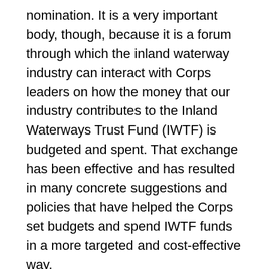nomination. It is a very important body, though, because it is a forum through which the inland waterway industry can interact with Corps leaders on how the money that our industry contributes to the Inland Waterways Trust Fund (IWTF) is budgeted and spent. That exchange has been effective and has resulted in many concrete suggestions and policies that have helped the Corps set budgets and spend IWTF funds in a more targeted and cost-effective way.
The barge industry has always taken pride in its bipartisan nature, working willingly with members of both parties to achieve the common goal of improving our waterways infrastructure system. While it's not uncommon for there to be candid